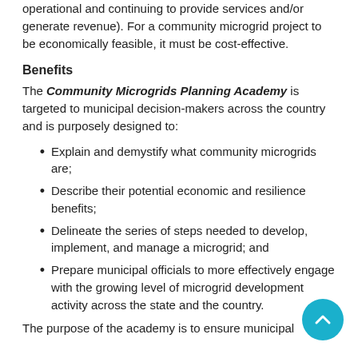operational and continuing to provide services and/or generate revenue). For a community microgrid project to be economically feasible, it must be cost-effective.
Benefits
The Community Microgrids Planning Academy is targeted to municipal decision-makers across the country and is purposely designed to:
Explain and demystify what community microgrids are;
Describe their potential economic and resilience benefits;
Delineate the series of steps needed to develop, implement, and manage a microgrid; and
Prepare municipal officials to more effectively engage with the growing level of microgrid development activity across the state and the country.
The purpose of the academy is to ensure municipal...